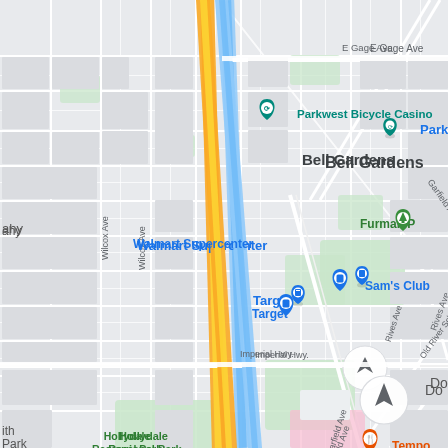[Figure (map): Google Maps screenshot showing Bell Gardens area in Los Angeles County, California. Shows street grid with landmarks including Parkwest Bicycle Casino, Bell Gardens neighborhood label, Walmart Supercenter, Target, Sam's Club, Furman Park, Apollo Park, Hollydale Regional Park, Tempo restaurant, Floor & Decor, Kaiser Permanente Downey Medical Center. Major roads include E Gage Ave, Garfield Ave, Wilcox Ave, Old River School Rd, Rives Ave, Imperial Hwy. A blue waterway (Los Angeles River) and yellow highway (I-710/Long Beach Freeway) run roughly north-south. Navigation arrow button visible at bottom right.]